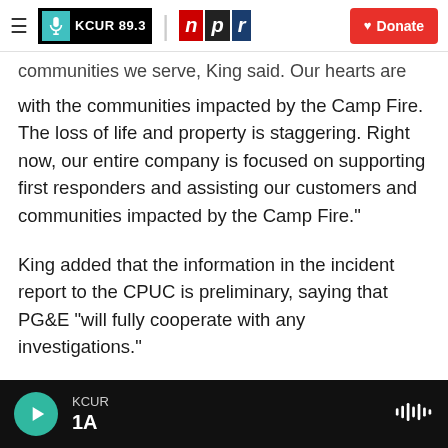KCUR 89.3 | npr | Donate
communities we serve, King said. Our hearts are with the communities impacted by the Camp Fire. The loss of life and property is staggering. Right now, our entire company is focused on supporting first responders and assisting our customers and communities impacted by the Camp Fire."
King added that the information in the incident report to the CPUC is preliminary, saying that PG&E "will fully cooperate with any investigations."
He also noted, "The cause of the Camp Fire has not yet been determined."
KCUR 1A